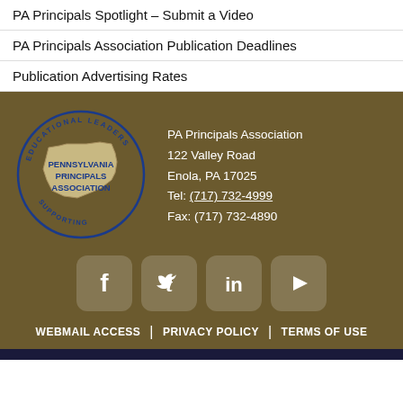PA Principals Spotlight – Submit a Video
PA Principals Association Publication Deadlines
Publication Advertising Rates
[Figure (logo): Pennsylvania Principals Association circular logo with gold PA state shape and blue text]
PA Principals Association
122 Valley Road
Enola, PA 17025
Tel: (717) 732-4999
Fax: (717) 732-4890
[Figure (infographic): Social media icons: Facebook, Twitter, LinkedIn, YouTube]
WEBMAIL ACCESS | PRIVACY POLICY | TERMS OF USE